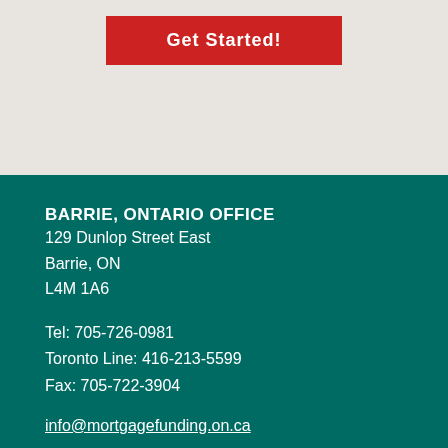[Figure (other): Red 'Get Started!' button on light grey background]
BARRIE, ONTARIO OFFICE
129 Dunlop Street East
Barrie, ON
L4M 1A6
Tel: 705-726-0981
Toronto Line: 416-213-5599
Fax: 705-722-3904
info@mortgagefunding.on.ca
[Figure (other): Social media icons: Facebook (f), LinkedIn (in), Google+ (g+)]
QUICK MORTGAGE LINKS